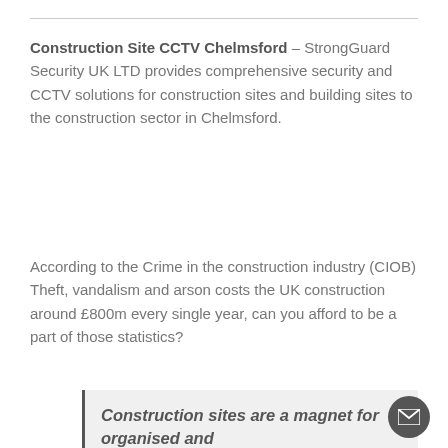Construction Site CCTV Chelmsford – StrongGuard Security UK LTD provides comprehensive security and CCTV solutions for construction sites and building sites to the construction sector in Chelmsford.
According to the Crime in the construction industry (CIOB) Theft, vandalism and arson costs the UK construction around £800m every single year, can you afford to be a part of those statistics?
Construction sites are a magnet for organised and